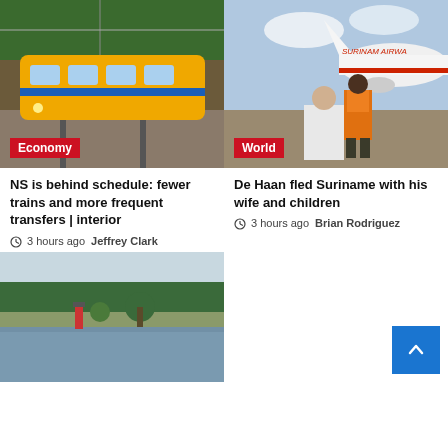[Figure (photo): Yellow and blue Dutch NS train on railway tracks with green trees in background]
Economy
[Figure (photo): Airport worker in orange vest standing near Surinam Airways airplane on tarmac]
World
NS is behind schedule: fewer trains and more frequent transfers | interior
3 hours ago   Jeffrey Clark
De Haan fled Suriname with his wife and children
3 hours ago   Brian Rodriguez
[Figure (photo): Flooded river landscape with trees and a small lighthouse visible in the water]